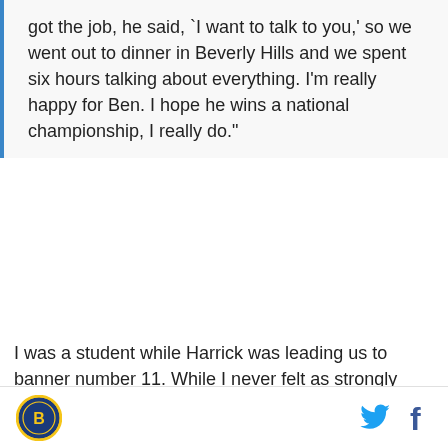got the job, he said, `I want to talk to you,' so we went out to dinner in Beverly Hills and we spent six hours talking about everything. I'm really happy for Ben. I hope he wins a national championship, I really do."
I was a student while Harrick was leading us to banner number 11. While I never felt as strongly about Coach Harrick as I do about Coach Howland, I always appreciated how he had restored the program. I think UCLA did the right thing wrt to Harrick (which is a remarkable contrast in comparison to how the morally corrupt losers from South Central are coddling Pom Pom). However, to me it appears Harrick has paid his due. And as long as Coach Howland has welcomed him back the